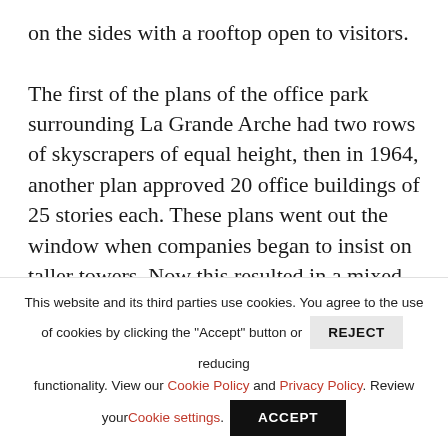on the sides with a rooftop open to visitors.

The first of the plans of the office park surrounding La Grande Arche had two rows of skyscrapers of equal height, then in 1964, another plan approved 20 office buildings of 25 stories each. These plans went out the window when companies began to insist on taller towers. Now this resulted in a mixed bag of towers, the
This website and its third parties use cookies. You agree to the use of cookies by clicking the "Accept" button or REJECT reducing functionality. View our Cookie Policy and Privacy Policy. Review your Cookie settings. ACCEPT